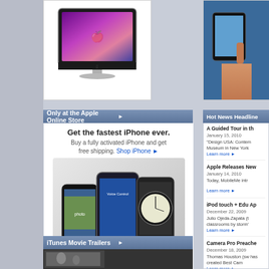[Figure (photo): Apple iMac computer - top portion visible with colorful purple/pink wallpaper]
[Figure (photo): Person holding iPod or similar Apple device - partially visible on right side]
Only at the Apple Online Store ▶
Get the fastest iPhone ever.
Buy a fully activated iPhone and get free shipping. Shop iPhone ▶
[Figure (photo): Three iPhones shown together]
Be your own Cupid.
Find the perfect iPod and other Valentine's gifts.
Shop now ▶
Configure your Mac.
Add the options you want to build your perfect Mac.
Shop Mac ▶
Questions? Advice? 1-800-MY-APPLE
iTunes Movie Trailers ▶
[Figure (photo): Movie trailer thumbnail - black and white image]
Hot News Headlines
A Guided Tour in th…
January 15, 2010
"Design USA: Contem… Museum in New York… Learn more ▶
Apple Releases New…
January 14, 2010
Today, MobileMe intr… Learn more ▶
iPod touch + Edu Ap…
December 22, 2009
Julio Ojeda-Zapata (t… classrooms by storm'… Learn more ▶
Camera Pro Preache…
December 18, 2009
Thomas Houston (sw… has created Best Cam… Learn more ▶
Global Mobile U
December 16, 2009
As one of the largest…